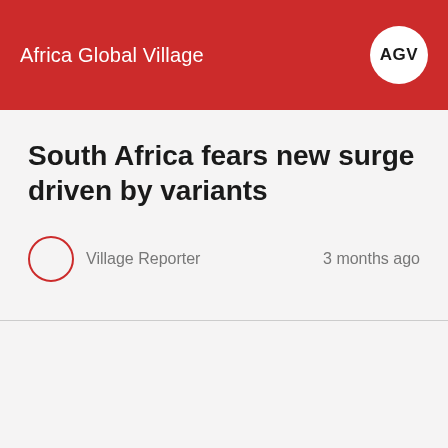Africa Global Village
South Africa fears new surge driven by variants
Village Reporter   3 months ago